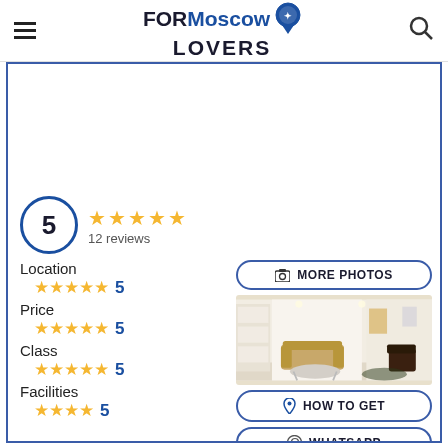FOR Moscow LOVERS
5  ★★★★★  12 reviews
Location ★★★★★ 5
Price ★★★★★ 5
Class ★★★★★ 5
Facilities ★★★★★ 5
[Figure (photo): Hotel lobby interior with white walls, built-in shelving, wicker sofa and round coffee table]
MORE PHOTOS
HOW TO GET
WHATSAPP